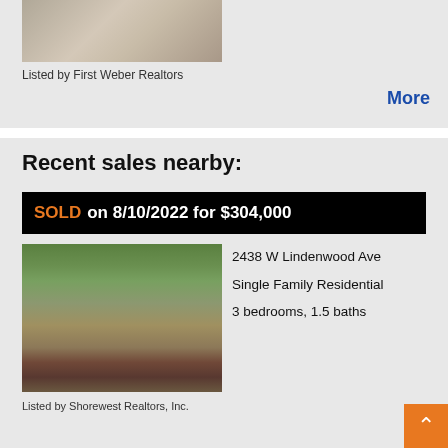[Figure (photo): Partial interior photo showing hardwood floors and furniture]
Listed by First Weber Realtors
More
Recent sales nearby:
SOLD on 8/10/2022 for $304,000
[Figure (photo): Exterior photo of a single-family brick ranch home with green lawn and trees]
2438 W Lindenwood Ave
Single Family Residential
3 bedrooms, 1.5 baths
Listed by Shorewest Realtors, Inc.